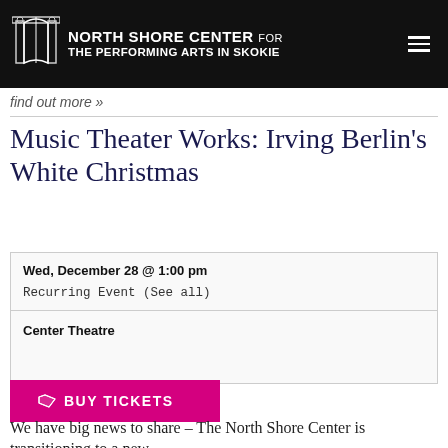NORTH SHORE CENTER FOR THE PERFORMING ARTS IN SKOKIE
find out more »
Music Theater Works: Irving Berlin's White Christmas
| Wed, December 28 @ 1:00 pm | Recurring Event (See all) |
| Center Theatre |
BUY TICKETS
We have big news to share – The North Shore Center is transitioning to a new